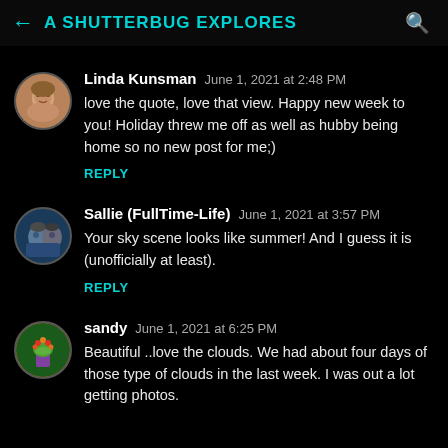← A SHUTTERBUG EXPLORES
Linda Kunsman  June 1, 2021 at 2:48 PM
love the quote, love that view. Happy new week to you! Holiday threw me off as well as hubby being home so no new post for me;)
REPLY
Sallie (FullTime-Life)  June 1, 2021 at 3:57 PM
Your sky scene looks like summer! And I guess it is (unofficially at least).
REPLY
sandy  June 1, 2021 at 6:25 PM
Beautiful ..love the clouds. We had about four days of those type of clouds in the last week. I was out a lot getting photos.